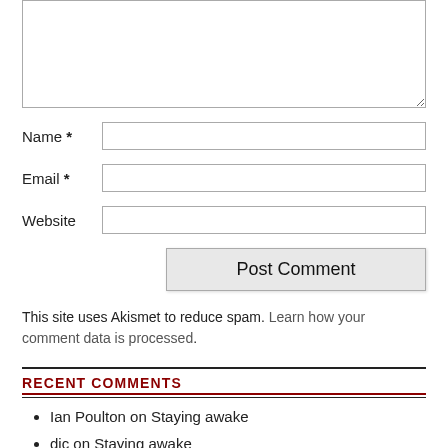[Figure (screenshot): Comment form textarea box (empty, resizable)]
Name *
Email *
Website
Post Comment
This site uses Akismet to reduce spam. Learn how your comment data is processed.
RECENT COMMENTS
Ian Poulton on Staying awake
djc on Staying awake
Ian Poulton on Making a living
Vince on Making a living